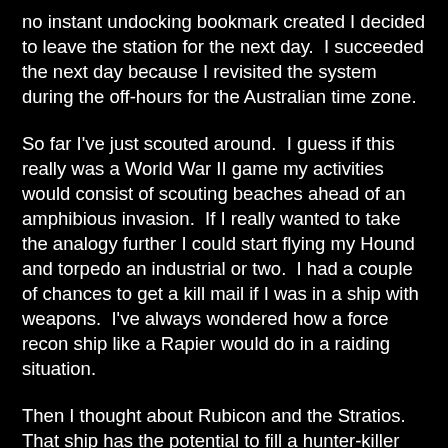no instant undocking bookmark created I decided to leave the station for the next day.  I succeeded the next day because I revisited the system during the off-hours for the Australian time zone.
So far I've just scouted around.  I guess if this really was a World War II game my activities would consist of scouting beaches ahead of an amphibious invasion.  If I really wanted to take the analogy further I could start flying my Hound and torpedo an industrial or two.  I had a couple of chances to get a kill mail if I was in a ship with weapons.  I've always wondered how a force recon ship like a Rapier would do in a raiding situation.
Then I thought about Rubicon and the Stratios.  That ship has the potential to fill a hunter-killer role.  The scarier thought is that I like to mine in low sec.  Usually I can get my Procurer away from a single ship with the timely intervention of Rosewalker uncloaking in a Hound and firing a few torpedoes.  Will that strategy work against the Stratios?  Or will the Stratios have enough tank to brush the firepower of a Hound aside.  If not, will players mistakenly think the Stratios